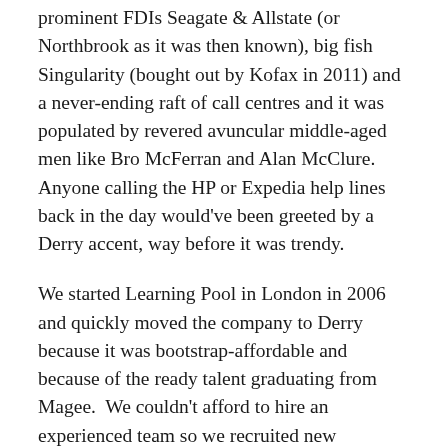prominent FDIs Seagate & Allstate (or Northbrook as it was then known), big fish Singularity (bought out by Kofax in 2011) and a never-ending raft of call centres and it was populated by revered avuncular middle-aged men like Bro McFerran and Alan McClure.  Anyone calling the HP or Expedia help lines back in the day would've been greeted by a Derry accent, way before it was trendy.
We started Learning Pool in London in 2006 and quickly moved the company to Derry because it was bootstrap-affordable and because of the ready talent graduating from Magee.  We couldn't afford to hire an experienced team so we recruited new graduates with the right attitude and trained them.  We didn't have an office so we took a few desks in the (by today's standards) shockingly haphazard co-working space at the University.  Even though the space was supposed to be reserved for new startups, a few companies had been renting in there forever so we ended up with desks dotted here & there in random parts of the floor.  No-one in our team could sit